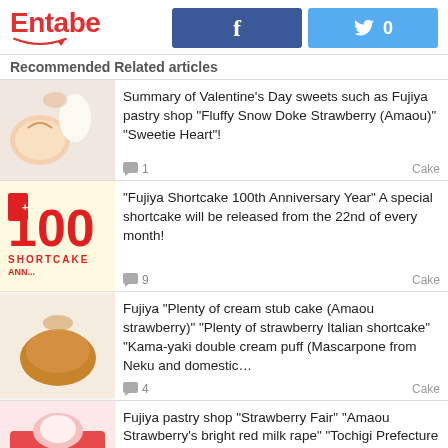Entabe
Recommended Related articles
Summary of Valentine's Day sweets such as Fujiya pastry shop "Fluffy Snow Doke Strawberry (Amaou)" "Sweetie Heart"! | 1 comment | Cake
"Fujiya Shortcake 100th Anniversary Year" A special shortcake will be released from the 22nd of every month! | 9 comments | Cake
Fujiya "Plenty of cream stub cake (Amaou strawberry)" "Plenty of strawberry Italian shortcake" "Kama-yaki double cream puff (Mascarpone from Neku and domestic... | 4 comments | Cake
Fujiya pastry shop "Strawberry Fair" "Amaou Strawberry's bright red milk rape" "Tochigi Prefecture skyberry dark Mont Blanc" etc. | 1 comment | Strawberry